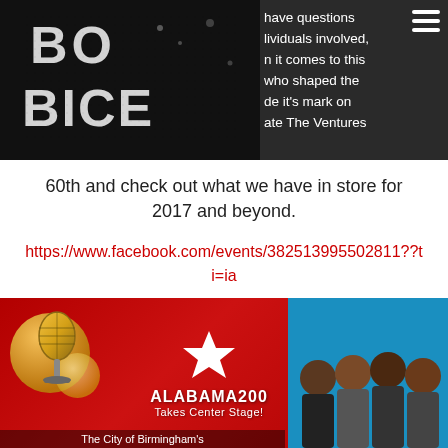[Figure (logo): Bo Bice logo — white grunge lettering on dark background]
have questions lividuals involved, n it comes to this who shaped the de it's mark on ate The Ventures
60th and check out what we have in store for 2017 and beyond.
https://www.facebook.com/events/382513995502811??ti=ia
[Figure (photo): Alabama200 Takes Center Stage promotional banner — red background with gold microphone, white star, and group photo of performers. Bottom text: The City of Birmingham's]